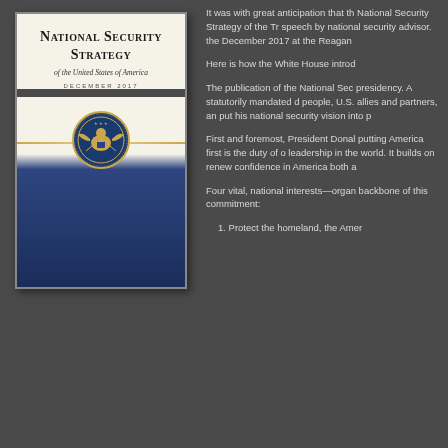[Figure (illustration): Cover of the National Security Strategy of the United States of America, December 2017. Cream/white upper section with title in small-caps serif font, italic subtitle, and date in spaced caps. Presidential seal in center. Lower section is dark navy blue gradient.]
It was with great anticipation that th National Security Strategy of the Tr speech by national security advisor. the December 2017 at the Reagan
Here is how the White House introd
The publication of the National Sec presidency. A statutorily mandated d people, U.S. allies and partners, an put his national security vision into p
First and foremost, President Donal putting America first is the duty of o leadership in the world. It builds on renew confidence in America both a
Four vital, national interests—organ backbone of this commitment:
1. Protect the homeland, the Amer